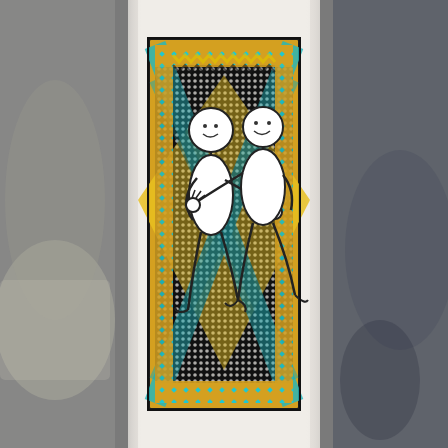[Figure (photo): A photograph of a wine bottle label featuring two simple line-drawn figures (resembling gingerbread people) dancing or embracing on a decorative background. The background has an ornate pattern with yellow/gold, teal/turquoise, black and white geometric motifs including diamonds, zigzags, and a lattice-like border. The two white outline figures are embracing each other and appear to be smiling. The bottle is white/cream and sits in a blurred indoor background.]